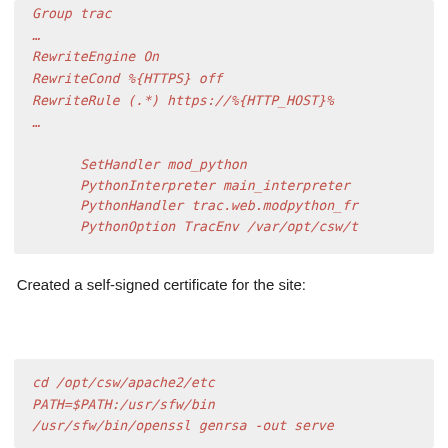Group trac
...
RewriteEngine On
RewriteCond %{HTTPS} off
RewriteRule (.*) https://%{HTTP_HOST}%
...

    SetHandler mod_python
    PythonInterpreter main_interpreter
    PythonHandler trac.web.modpython_fr
    PythonOption TracEnv /var/opt/csw/t
Created a self-signed certificate for the site:
cd /opt/csw/apache2/etc
PATH=$PATH:/usr/sfw/bin
/usr/sfw/bin/openssl genrsa -out serve